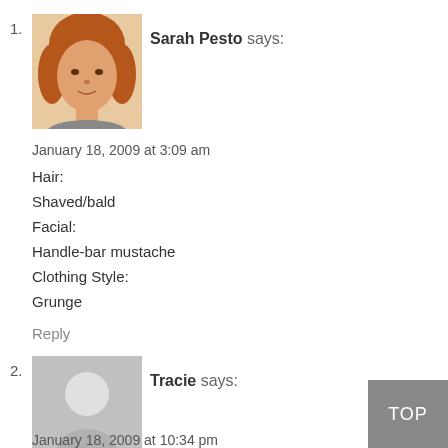[Figure (photo): Avatar photo of Sarah Pesto, a woman with reddish-brown hair]
Sarah Pesto says:
January 18, 2009 at 3:09 am
Hair:
Shaved/bald
Facial:
Handle-bar mustache
Clothing Style:
Grunge
Reply
[Figure (illustration): Generic grey avatar silhouette for Tracie]
Tracie says:
January 18, 2009 at 10:34 pm
Ok, thought I'd chime in:
Hair: Short